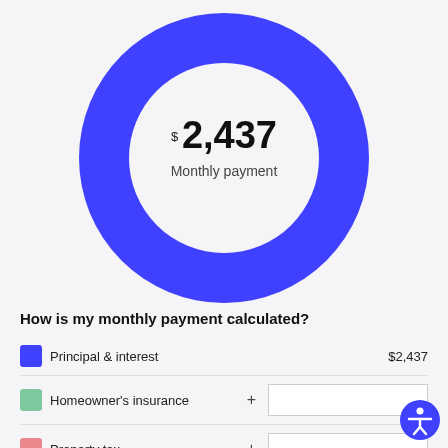[Figure (donut-chart): Monthly payment]
How is my monthly payment calculated?
Principal & interest  $2,437
Homeowner's insurance  +
Property tax  +